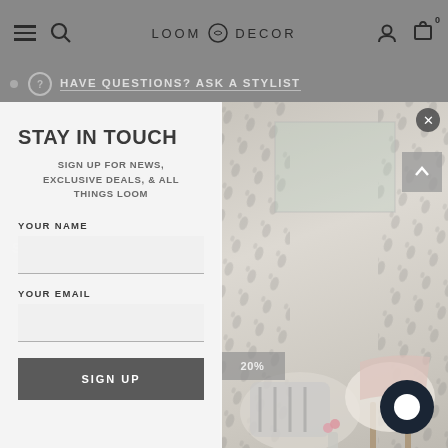LOOM DECOR — navigation bar with hamburger menu, search, logo, user, and cart icons
HAVE QUESTIONS? ASK A STYLIST
STAY IN TOUCH
SIGN UP FOR NEWS, EXCLUSIVE DEALS, & ALL THINGS LOOM
YOUR NAME
YOUR EMAIL
SIGN UP
[Figure (photo): Room photo showing patterned gray curtains, a white chair with a pink/cream throw blanket, decorative pillows on the floor, and a small vase with pink flowers. LOOM & DECOR watermark visible at bottom left.]